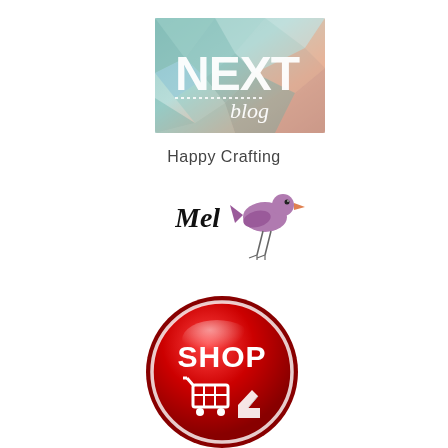[Figure (illustration): NEXT blog button — geometric low-poly background in mint/teal and peach tones with bold white text 'NEXT' and script 'blog' with dotted underline]
Happy Crafting
[Figure (illustration): Signature 'Mel' in handwritten script next to a small purple/mauve bird illustration standing on two thin legs]
[Figure (illustration): Red glossy circular SHOP button with white bold text 'SHOP' and a shopping cart with a pointing hand cursor icon]